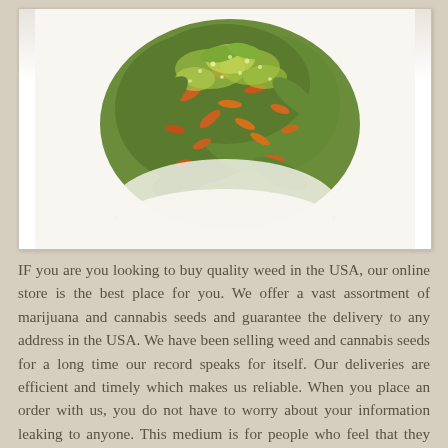[Figure (photo): Close-up photograph of a cannabis/marijuana bud with green and orange colors against a white background, displayed in a white-bordered frame.]
IF you are you looking to buy quality weed in the USA, our online store is the best place for you. We offer a vast assortment of marijuana and cannabis seeds and guarantee the delivery to any address in the USA. We have been selling weed and cannabis seeds for a long time our record speaks for itself. Our deliveries are efficient and timely which makes us reliable. When you place an order with us, you do not have to worry about your information leaking to anyone. This medium is for people who feel that they should keep their weed use as a private matter. Maybe they feel that it would affect the relationship with the people around them. These people